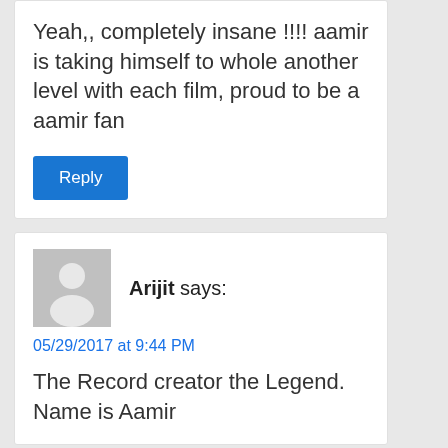Yeah,, completely insane !!!! aamir is taking himself to whole another level with each film, proud to be a aamir fan
Reply
Arijit says:
05/29/2017 at 9:44 PM
The Record creator the Legend. Name is Aamir